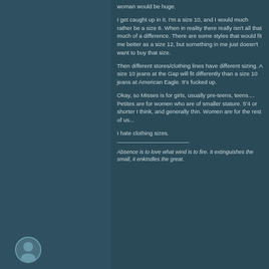woman would be huge.
I get caught up in it. I'm a size 10, and I would much rather be a size 8. When in reality there really isn't all that much of a difference. There are some styles that would fit me better as a size 12, but something in me just doesn't want to buy that size.
Then different stores/clothing lines have different sizing. A size 10 jeans at the Gap will fit differently than a size 10 jeans at American Eagle. It's fucked up.
Okay, so Misses is for girls, usually pre-teens, teens.... Petites are for women who are of smaller stature. 5'4 or shorter I think, and generally thin. Women are for the rest of us...
I hate clothing sizes.
Absence is to love what wind is to fire. It extinguishes the small, it enkindles the great.